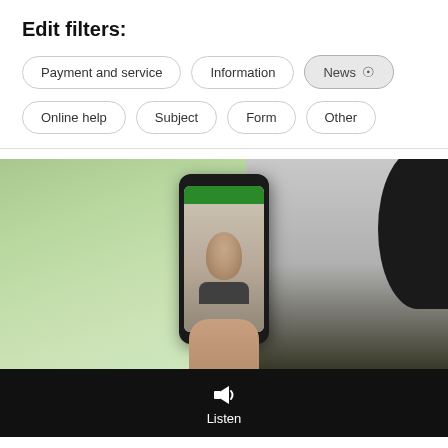Edit filters:
Payment and service
Information
News (selected)
Online help
Subject
Form
Other
[Figure (photo): Person holding a smartphone showing a video call with an older man wearing a headset. Blurred green background. Dark hair silhouette on the right edge.]
Listen